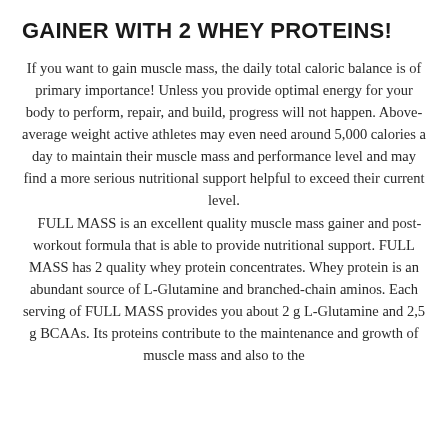GAINER WITH 2 WHEY PROTEINS!
If you want to gain muscle mass, the daily total caloric balance is of primary importance! Unless you provide optimal energy for your body to perform, repair, and build, progress will not happen. Above-average weight active athletes may even need around 5,000 calories a day to maintain their muscle mass and performance level and may find a more serious nutritional support helpful to exceed their current level. FULL MASS is an excellent quality muscle mass gainer and post-workout formula that is able to provide nutritional support. FULL MASS has 2 quality whey protein concentrates. Whey protein is an abundant source of L-Glutamine and branched-chain aminos. Each serving of FULL MASS provides you about 2 g L-Glutamine and 2,5 g BCAAs. Its proteins contribute to the maintenance and growth of muscle mass and also to the